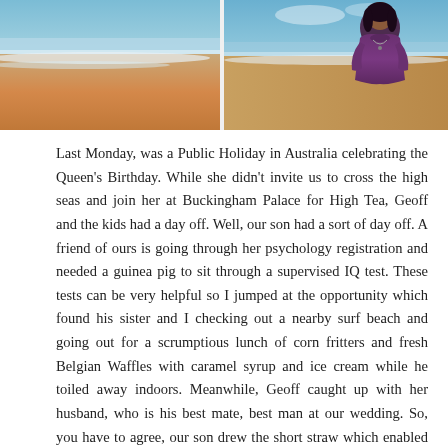[Figure (photo): Two beach photos side by side: left shows a sandy beach with orange sand and waves; right shows a woman in a purple top standing on a beach with ocean in the background.]
Last Monday, was a Public Holiday in Australia celebrating the Queen's Birthday. While she didn't invite us to cross the high seas and join her at Buckingham Palace for High Tea, Geoff and the kids had a day off. Well, our son had a sort of day off. A friend of ours is going through her psychology registration and needed a guinea pig to sit through a supervised IQ test. These tests can be very helpful so I jumped at the opportunity which found his sister and I checking out a nearby surf beach and going out for a scrumptious lunch of corn fritters and fresh Belgian Waffles with caramel syrup and ice cream while he toiled away indoors. Meanwhile, Geoff caught up with her husband, who is his best mate, best man at our wedding. So, you have to agree, our son drew the short straw which enabled the rest of us to have a great day. We will be making it up to him.